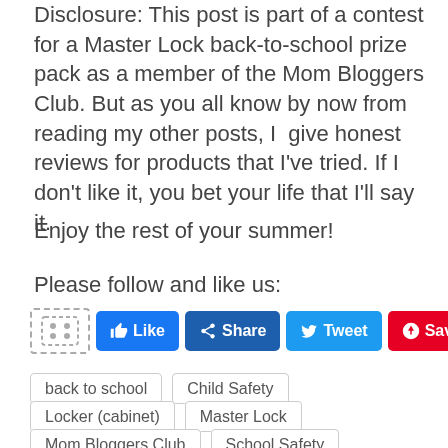Disclosure: This post is part of a contest for a Master Lock back-to-school prize pack as a member of the Mom Bloggers Club. But as you all know by now from reading my other posts, I give honest reviews for products that I've tried. If I don't like it, you bet your life that I'll say it.
Enjoy the rest of your summer!
Please follow and like us:
[Figure (other): Social sharing buttons: Like (Facebook blue), Share (Facebook dark blue), Tweet (Twitter blue), Save (Pinterest red), and a dashed icon placeholder]
back to school
Child Safety
Locker (cabinet)
Master Lock
Mom Bloggers Club
School Safety